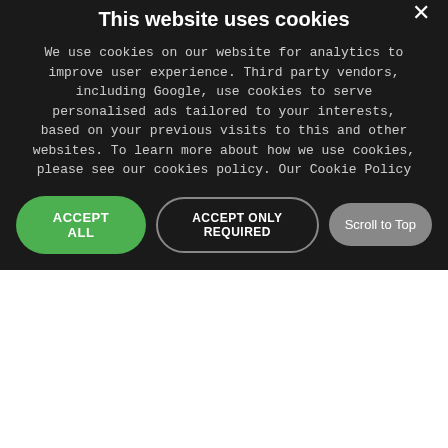scooters available to hire in Berlin so you can explore the many beautiful Christmas markets. If you would like to find out more follow the link below: http://www.mobi ... More!
16 March 2018 - Fastest Delivery-Wheelchair-Rental-in- Central London
Need a Wheelchair to Hire or Rent in London? Then look
This website uses cookies
We use cookies on our website for analytics to improve user experience. Third party vendors, including Google, use cookies to serve personalised ads tailored to your interests, based on your previous visits to this and other websites. To learn more about how we use cookies, please see our cookies policy. Our Cookie Policy
ACCEPT ALL
ACCEPT ONLY REQUIRED
Scroll to Top